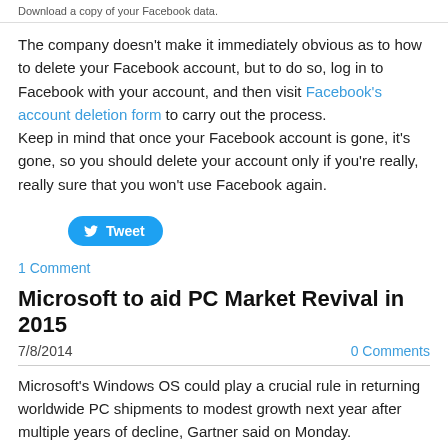Download a copy of your Facebook data.
The company doesn't make it immediately obvious as to how to delete your Facebook account, but to do so, log in to Facebook with your account, and then visit Facebook's account deletion form to carry out the process.
Keep in mind that once your Facebook account is gone, it's gone, so you should delete your account only if you're really, really sure that you won't use Facebook again.
[Figure (other): Tweet button with Twitter bird icon]
1 Comment
Microsoft to aid PC Market Revival in 2015
7/8/2014   0 Comments
Microsoft's Windows OS could play a crucial rule in returning worldwide PC shipments to modest growth next year after multiple years of decline, Gartner said on Monday.